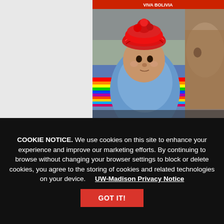[Figure (photo): A baby wearing a bright red traditional woven hat being carried on the back of an adult wearing colorful traditional Andean striped textile. A partial view of another person's face is visible on the right side. There is a red banner at the very top of the image.]
COOKIE NOTICE. We use cookies on this site to enhance your experience and improve our marketing efforts. By continuing to browse without changing your browser settings to block or delete cookies, you agree to the storing of cookies and related technologies on your device.     UW-Madison Privacy Notice
GOT IT!